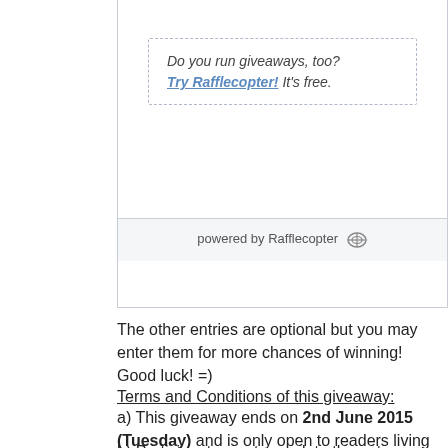[Figure (screenshot): Rafflecopter widget box showing promotional text 'Do you run giveaways, too? Try Rafflecopter! It's free.' inside a dashed border, and a 'powered by Rafflecopter' footer bar.]
The other entries are optional but you may enter them for more chances of winning! Good luck! =)
Terms and Conditions of this giveaway:
a) This giveaway ends on 2nd June 2015 (Tuesday) and is only open to readers living in Singapore.
b) Participants must complete the entry